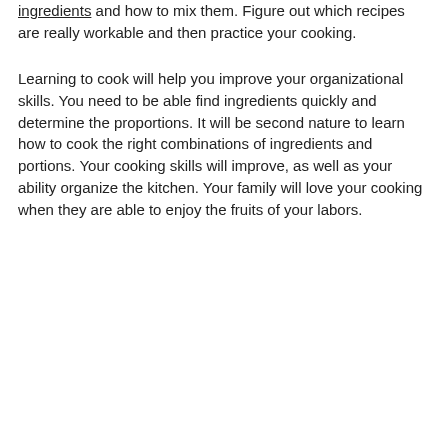ingredients and how to mix them. Figure out which recipes are really workable and then practice your cooking.
Learning to cook will help you improve your organizational skills. You need to be able find ingredients quickly and determine the proportions. It will be second nature to learn how to cook the right combinations of ingredients and portions. Your cooking skills will improve, as well as your ability organize the kitchen. Your family will love your cooking when they are able to enjoy the fruits of your labors.